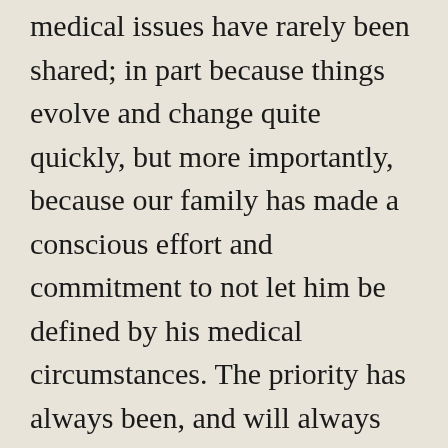medical issues have rarely been shared; in part because things evolve and change quite quickly, but more importantly, because our family has made a conscious effort and commitment to not let him be defined by his medical circumstances. The priority has always been, and will always be, to surround Kieran with love, affection, and a network of positive energy. Although he is certainly different, he is nonetheless equal; and, just like the rest of us, he deserves to be happy.
Writing is my private therapy. Over time, however, I have realized that our situation